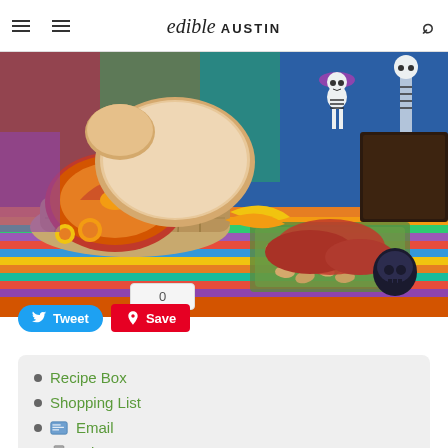edible AUSTIN
[Figure (photo): Colorful Day of the Dead (Día de los Muertos) altar display featuring pan de muerto bread in a wicker basket, marigold flowers, skeleton figurines with a purple hat, peanuts, sweet potatoes, and various decorative items on a striped textile background]
0
Tweet  Save
Recipe Box
Shopping List
Email
Print